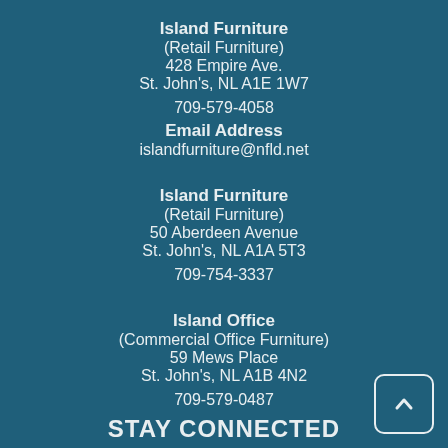Island Furniture
(Retail Furniture)
428 Empire Ave.
St. John's, NL A1E 1W7
709-579-4058
Email Address
islandfurniture@nfld.net
Island Furniture
(Retail Furniture)
50 Aberdeen Avenue
St. John's, NL A1A 5T3
709-754-3337
Island Office
(Commercial Office Furniture)
59 Mews Place
St. John's, NL A1B 4N2
709-579-0487
STAY CONNECTED